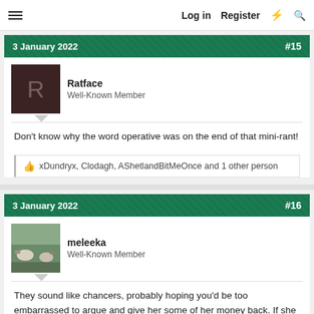≡   Log in   Register   ⚡   🔍
3 January 2022   #15
Ratface
Well-Known Member
Don't know why the word operative was on the end of that mini-rant!
👍 xDundryx, Clodagh, AShetlandBitMeOnce and 1 other person
3 January 2022   #16
meleeka
Well-Known Member
They sound like chancers, probably hoping you'd be too embarrassed to argue and give her some of her money back. If she